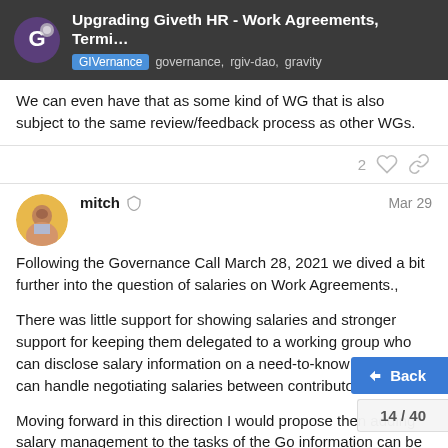Upgrading Giveth HR - Work Agreements, Termi… | GIVernance governance, rgiv-dao, gravity
We can even have that as some kind of WG that is also subject to the same review/feedback process as other WGs.
mitch  Mar 29
Following the Governance Call March 28, 2021 we dived a bit further into the question of salaries on Work Agreements.,
There was little support for showing salaries and stronger support for keeping them delegated to a working group who can disclose salary information on a need-to-know basis and can handle negotiating salaries between contributors.
Moving forward in this direction I would propose then adding salary management to the tasks of the Go... information can be kept in a spreadsheet c...